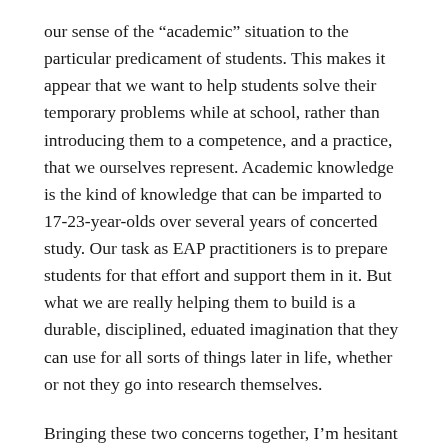our sense of the “academic” situation to the particular predicament of students. This makes it appear that we want to help students solve their temporary problems while at school, rather than introducing them to a competence, and a practice, that we ourselves represent. Academic knowledge is the kind of knowledge that can be imparted to 17-23-year-olds over several years of concerted study. Our task as EAP practitioners is to prepare students for that effort and support them in it. But what we are really helping them to build is a durable, disciplined, eduated imagination that they can use for all sorts of things later in life, whether or not they go into research themselves.
Bringing these two concerns together, I’m hesitant to think of English for Academic Purposes as an object of scientific study or, more specifically, an area of applied linguistics devoted to understanding how students use language to pass their assignments. I would much rather